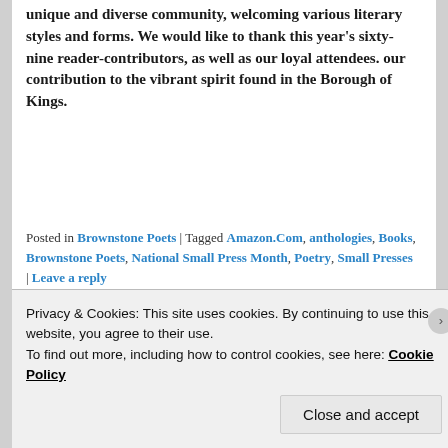unique and diverse community, welcoming various literary styles and forms. We would like to thank this year's sixty-nine reader-contributors, as well as our loyal attendees. our contribution to the vibrant spirit found in the Borough of Kings.
Posted in Brownstone Poets | Tagged Amazon.Com, anthologies, Books, Brownstone Poets, National Small Press Month, Poetry, Small Presses | Leave a reply
Here's the Boog City Day
Privacy & Cookies: This site uses cookies. By continuing to use this website, you agree to their use.
To find out more, including how to control cookies, see here: Cookie Policy